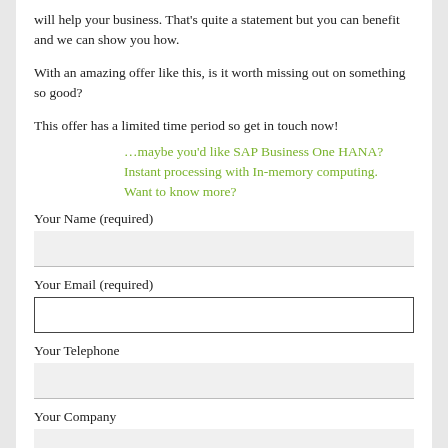…will help your business. That's quite a statement but you can benefit and we can show you how.
With an amazing offer like this, is it worth missing out on something so good?
This offer has a limited time period so get in touch now!
…maybe you'd like SAP Business One HANA? Instant processing with In-memory computing. Want to know more?
Your Name (required)
Your Email (required)
Your Telephone
Your Company
Subject